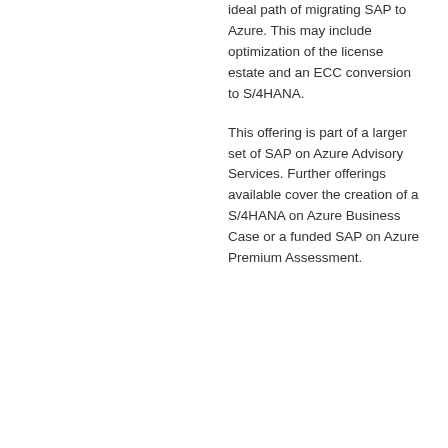ideal path of migrating SAP to Azure. This may include optimization of the license estate and an ECC conversion to S/4HANA.
This offering is part of a larger set of SAP on Azure Advisory Services. Further offerings available cover the creation of a S/4HANA on Azure Business Case or a funded SAP on Azure Premium Assessment.